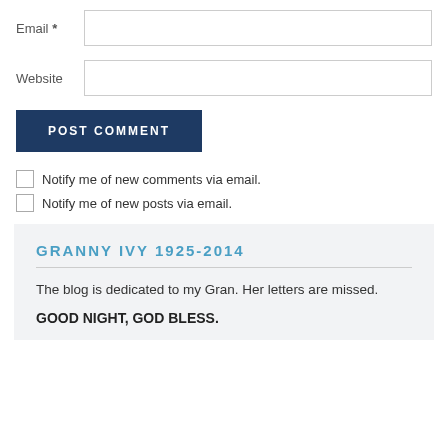Email *
Website
POST COMMENT
Notify me of new comments via email.
Notify me of new posts via email.
GRANNY IVY 1925-2014
The blog is dedicated to my Gran. Her letters are missed.
GOOD NIGHT, GOD BLESS.